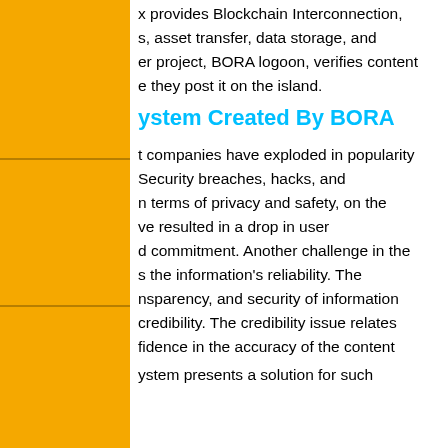provides Blockchain Interconnection, asset transfer, data storage, and project, BORA logoon, verifies content they post it on the island.
ystem Created By BORA
companies have exploded in popularity Security breaches, hacks, and terms of privacy and safety, on the ve resulted in a drop in user d commitment. Another challenge in the s the information's reliability. The nsparency, and security of information credibility. The credibility issue relates fidence in the accuracy of the content
ystem presents a solution for such